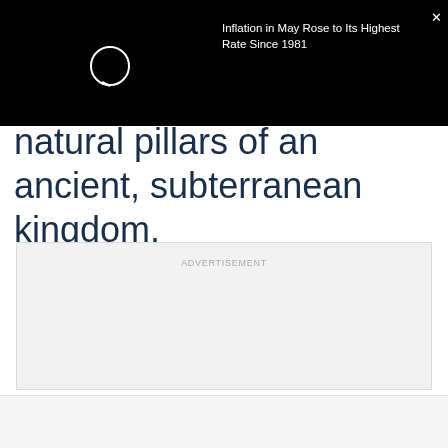[Figure (screenshot): Black top bar with a circular loading/icon element on the left and a popup notification title on the right reading 'Inflation in May Rose to Its Highest Rate Since 1981' with a close (X) button]
natural pillars of an ancient, subterranean kingdom.
ADVERTISEMENT